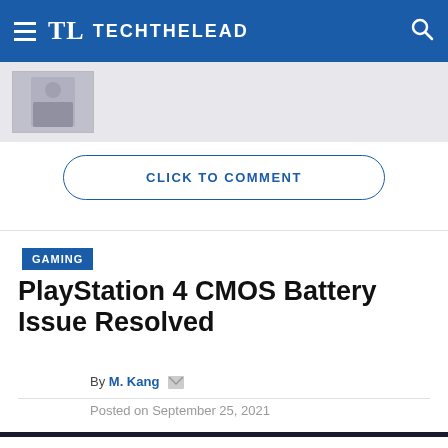TL TECHTHELEAD
[Figure (photo): Small thumbnail image of a person, partially visible]
CLICK TO COMMENT
GAMING
PlayStation 4 CMOS Battery Issue Resolved
By M. Kang
Posted on September 25, 2021
This website uses cookies to improve your experience. We'll assume you're ok with this, but you can opt-out if you wish.
Accept  Read More